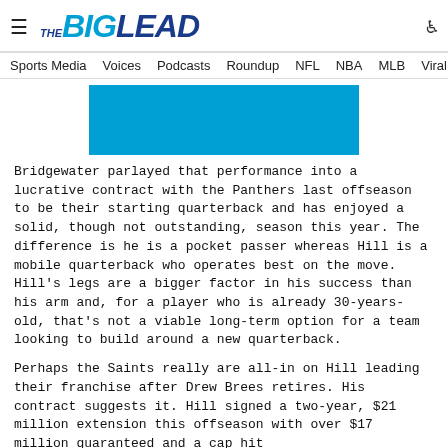THE BIG LEAD
Sports Media   Voices   Podcasts   Roundup   NFL   NBA   MLB   Viral In
[Figure (other): Blue advertisement banner]
Bridgewater parlayed that performance into a lucrative contract with the Panthers last offseason to be their starting quarterback and has enjoyed a solid, though not outstanding, season this year. The difference is he is a pocket passer whereas Hill is a mobile quarterback who operates best on the move. Hill's legs are a bigger factor in his success than his arm and, for a player who is already 30-years-old, that's not a viable long-term option for a team looking to build around a new quarterback.
Perhaps the Saints really are all-in on Hill leading their franchise after Drew Brees retires. His contract suggests it. Hill signed a two-year, $21 million extension this offseason with over $17 million guaranteed and a cap hit